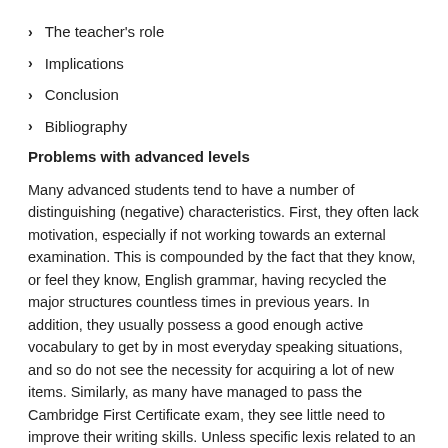The teacher's role
Implications
Conclusion
Bibliography
Problems with advanced levels
Many advanced students tend to have a number of distinguishing (negative) characteristics. First, they often lack motivation, especially if not working towards an external examination. This is compounded by the fact that they know, or feel they know, English grammar, having recycled the major structures countless times in previous years. In addition, they usually possess a good enough active vocabulary to get by in most everyday speaking situations, and so do not see the necessity for acquiring a lot of new items. Similarly, as many have managed to pass the Cambridge First Certificate exam, they see little need to improve their writing skills. Unless specific lexis related to an individual's work or leisure interests surfaces, novel vocabulary or ways of expressing oneself seem of only passing interest. If teachers content themselves with recycling hackneyed grammar points, or introducing increasingly